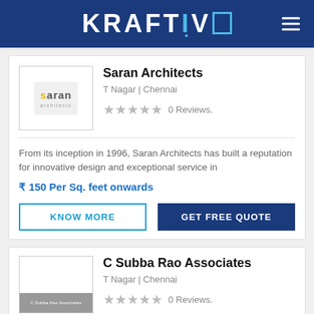KRAFTIVO
Saran Architects
T Nagar | Chennai
0 Reviews.
From its inception in 1996, Saran Architects has built a reputation for innovative design and exceptional service in
₹ 150 Per Sq. feet onwards
KNOW MORE
GET FREE QUOTE
C Subba Rao Associates
T Nagar | Chennai
0 Reviews.